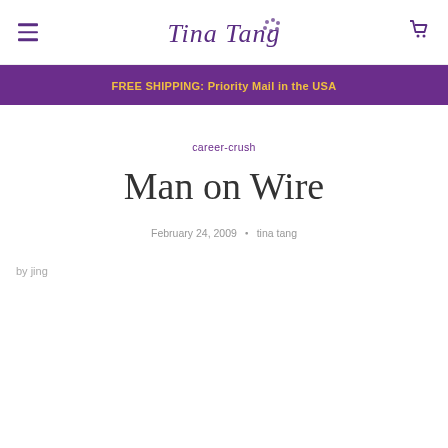Tina Tang
FREE SHIPPING: Priority Mail in the USA
career-crush
Man on Wire
February 24, 2009 · tina tang
by jing